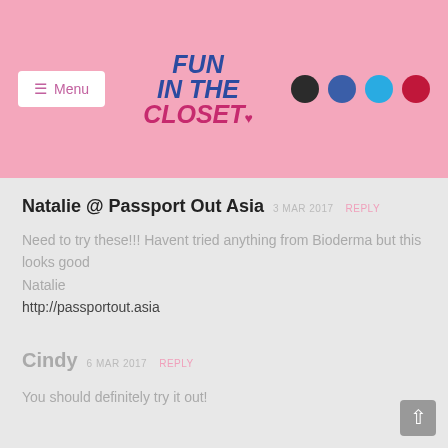Fun In The Closet — Menu header with social icons
Natalie @ Passport Out Asia  3 MAR 2017  REPLY
Need to try these!!! Havent tried anything from Bioderma but this looks good
Natalie
http://passportout.asia
Cindy  6 MAR 2017  REPLY
You should definitely try it out!